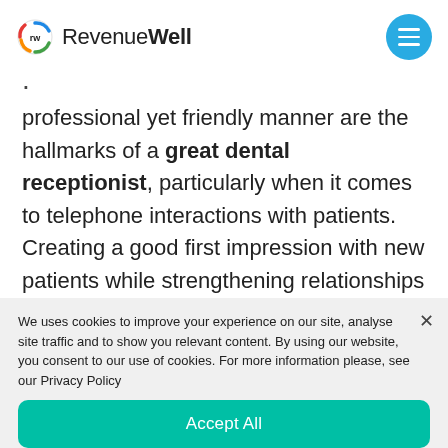[Figure (logo): RevenueWell logo with circular 'rw' icon and text 'RevenueWell' and hamburger menu button]
professional yet friendly manner are the hallmarks of a great dental receptionist, particularly when it comes to telephone interactions with patients. Creating a good first impression with new patients while strengthening relationships with existing patients is a must.
We uses cookies to improve your experience on our site, analyse site traffic and to show you relevant content. By using our website, you consent to our use of cookies. For more information please, see our Privacy Policy
Accept All